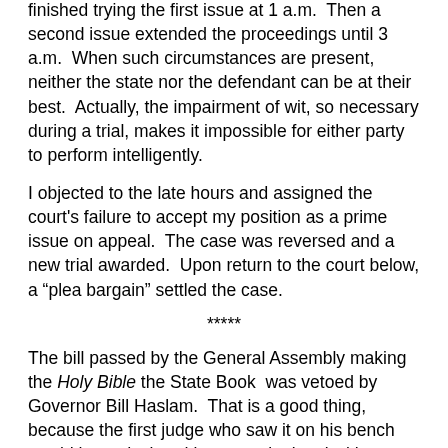finished trying the first issue at 1 a.m.  Then a second issue extended the proceedings until 3 a.m.  When such circumstances are present, neither the state nor the defendant can be at their best.  Actually, the impairment of wit, so necessary during a trial, makes it impossible for either party to perform intelligently.
I objected to the late hours and assigned the court's failure to accept my position as a prime issue on appeal.  The case was reversed and a new trial awarded.  Upon return to the court below, a “plea bargain” settled the case.
*****
The bill passed by the General Assembly making the Holy Bible the State Book  was vetoed by Governor Bill Haslam.  That is a good thing, because the first judge who saw it on his bench would have declared it unconstitutional without any hesitation at all.  Unfortunately, the governor’s action did not come in time to prevent giving the late night television shows the biggest laughs of the night.  This is only one of several acts which brought ridicule on our state.  Remember the “Road Kill Act?”
During his six years in office, Governor Haslam has vetoed four bills and the first three withstood an effort to override.